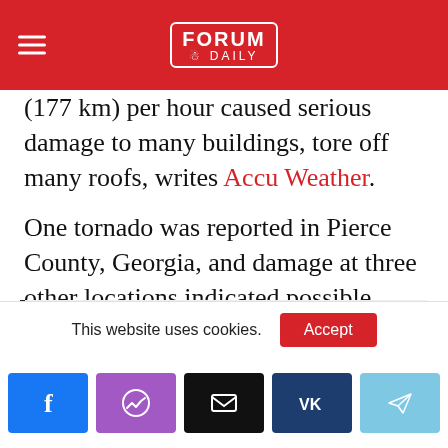Forum Daily
(177 km) per hour caused serious damage to many buildings, tore off many roofs, writes Accu Weather.
One tornado was reported in Pierce County, Georgia, and damage at three other locations indicated possible tornadoes that would have to await the results of the NWS research teams.
On the subject: Why tornadoes often occur after a hurricane lands on land
This website uses cookies. Accept
[Figure (other): Social media share buttons: Facebook, Messenger, Email, VK, Telegram]